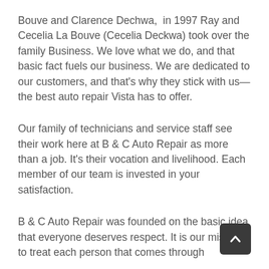Bouve and Clarence Dechwa,  in 1997 Ray and Cecelia La Bouve (Cecelia Deckwa) took over the family Business. We love what we do, and that basic fact fuels our business. We are dedicated to our customers, and that's why they stick with us—the best auto repair Vista has to offer.
Our family of technicians and service staff see their work here at B & C Auto Repair as more than a job. It's their vocation and livelihood. Each member of our team is invested in your satisfaction.
B & C Auto Repair was founded on the basic idea that everyone deserves respect. It is our mission to treat each person that comes through